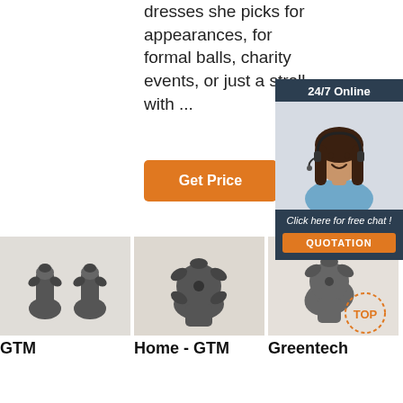dresses she picks for appearances, for formal balls, charity events, or just a stroll with ...
[Figure (other): Orange 'Get Price' button]
[Figure (other): 24/7 Online chat widget with woman wearing headset, 'Click here for free chat!' text and QUOTATION button]
[Figure (photo): GTM drill bit / cutting tool product photo 1]
[Figure (photo): Home - GTM drill bit / cutting tool product photo 2]
[Figure (photo): Greentech drill bit / cutting tool product photo 3 with TOP badge]
GTM
Home - GTM
Greentech